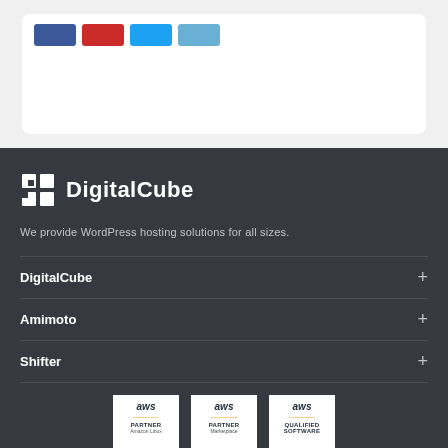[Figure (other): Social share buttons: Facebook (blue), Reddit (red), Twitter (light blue), LinkedIn (lighter blue) inside a white card on light gray background]
[Figure (logo): DigitalCube logo: white cube icon with cutout square pattern followed by bold white text 'DigitalCube' on dark gray background]
We provide WordPress hosting solutions for all sizes.
DigitalCube
Amimoto
Shifter
[Figure (logo): Three AWS partner badges: AWS Partner Amazon Linux, AWS Partner Marketplace, AWS Qualified Software — white pentagon-shaped badges on dark background]